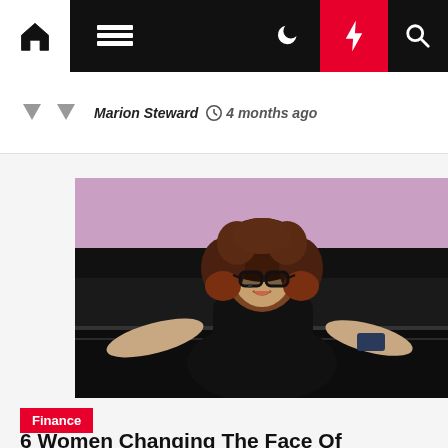Navigation bar with home, menu, dark mode, lightning, and search icons
Marion Steward  4 months ago
[Figure (photo): A woman with long curly reddish-brown hair and large black glasses, wearing a black blazer, smiling and gesturing with open hands on a dark stage with a pink/purple background screen. She holds a small device in one hand.]
Finance
6 Women Changing The Face Of Leadership In Banking And Finance